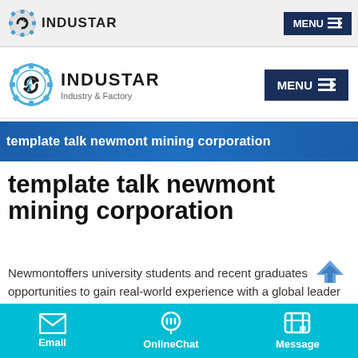INDUSTAR — MENU
[Figure (logo): INDUSTAR Industry & Factory logo with gear icon and MENU button]
template talk newmont mining corporation
template talk newmont mining corporation
Newmontoffers university students and recent graduates opportunities to gain real-world experience with a global leader in responsiblemining. Learn More Stay Informed aboutNewmont
Email  OnlineChat  Message